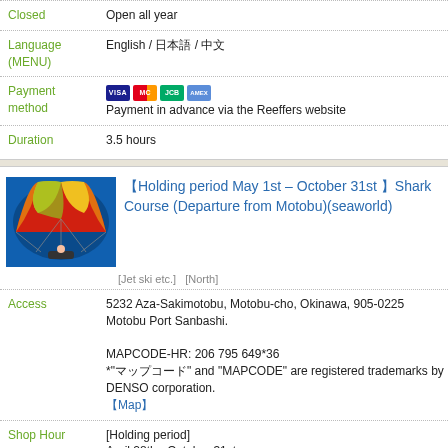| Closed | Open all year |
| Language (MENU) | English / 日本語 / 中文 |
| Payment method | [card icons] Payment in advance via the Reeffers website |
| Duration | 3.5 hours |
【Holding period May 1st – October 31st 】Shark Course (Departure from Motobu)(seaworld)
[Jet ski etc.]   [North]
| Access | 5232 Aza-Sakimotobu, Motobu-cho, Okinawa, 905-0225 Motobu Port Sanbashi.

MAPCODE-HR: 206 795 649*36
*"マップコード" and "MAPCODE" are registered trademarks by DENSO corporation.
【Map】 |
| Shop Hour | [Holding period]
April 28th - October 31st

[Shop Hour]
8AM - 8PM

[2 operations]
10AM / 2PM |
| Closed | The end of year and New Year holidays. |
| Language |  |